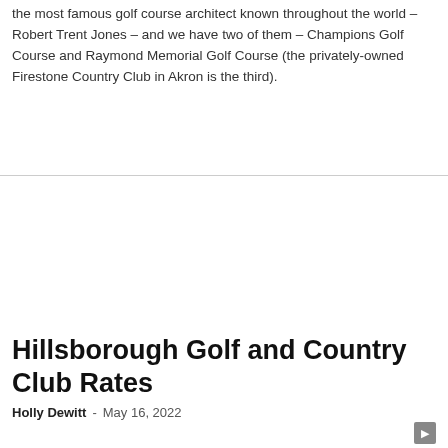the most famous golf course architect known throughout the world – Robert Trent Jones – and we have two of them – Champions Golf Course and Raymond Memorial Golf Course (the privately-owned Firestone Country Club in Akron is the third).
Hillsborough Golf and Country Club Rates
Holly Dewitt  -  May 16, 2022